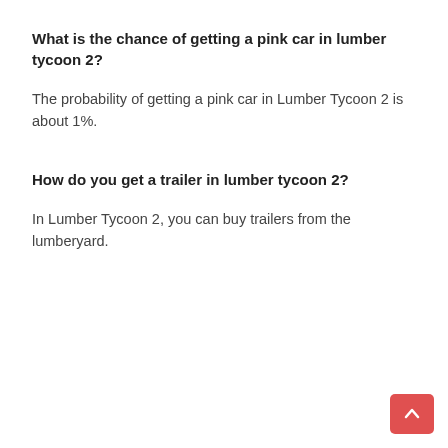What is the chance of getting a pink car in lumber tycoon 2?
The probability of getting a pink car in Lumber Tycoon 2 is about 1%.
How do you get a trailer in lumber tycoon 2?
In Lumber Tycoon 2, you can buy trailers from the lumberyard.